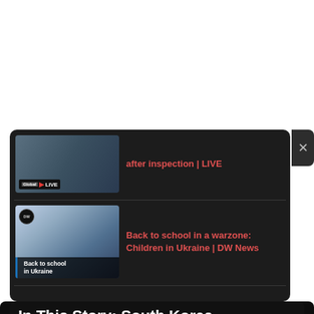[Figure (screenshot): Video thumbnail showing Global News LIVE broadcast with text 'after inspection | LIVE']
after inspection | LIVE
[Figure (screenshot): Video thumbnail from DW News showing children in a classroom in Ukraine with caption 'Back to school in Ukraine']
Back to school in a warzone: Children in Ukraine | DW News
In This Story: South Korea
[Figure (illustration): Globe/Earth illustration showing South Korea region in grayscale]